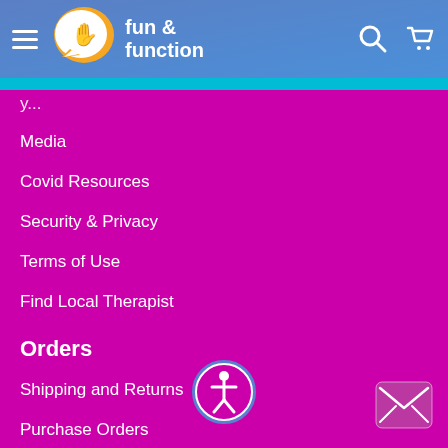fun & function
Media
Covid Resources
Security & Privacy
Terms of Use
Find Local Therapist
Orders
Shipping and Returns
Purchase Orders
Reward Points
Save up & Earn 10%
View e-catalog
Request a Catalog
[Figure (illustration): Accessibility icon - person in circle outline]
[Figure (illustration): Mail envelope icon in rounded square]